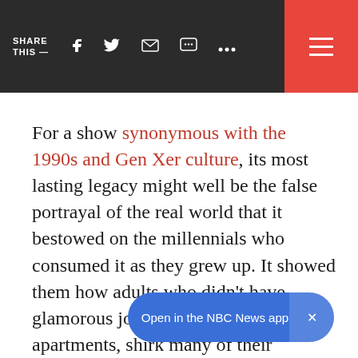SHARE THIS — [social icons: facebook, twitter, email, message, more]
For a show synonymous with the 1990s and Gen Xer culture, its most lasting legacy might well be the false portrayal of the real world that it bestowed on the millennials who consumed it as they grew up. It showed them how adults who didn't have glamorous jobs could live in nice, big apartments, shirk many of their responsibilities and act immaturely well into adulthood.
Open in the NBC News app ×